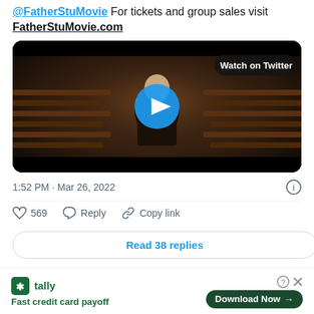@FatherStuMovie For tickets and group sales visit FatherStuMovie.com
[Figure (screenshot): Video thumbnail showing a man in a black sweater sitting in church pews, with a blue play button overlay and 'Watch on Twitter' badge in top right corner]
1:52 PM · Mar 26, 2022
569  Reply  Copy link
Read 38 replies
tally Fast credit card payoff  Download Now →